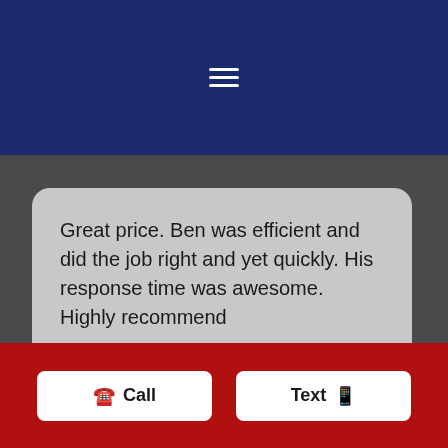[Figure (screenshot): Dark navy blue navigation bar with a hamburger menu icon (three horizontal white lines) centered in it]
Great price. Ben was efficient and did the job right and yet quickly. His response time was awesome. Highly recommend

-Kathy G.
[Figure (infographic): Five gold/yellow star rating icons displayed in a row]
Call
Text